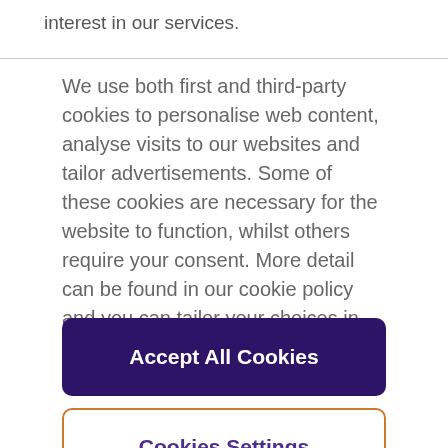interest in our services.
We use both first and third-party cookies to personalise web content, analyse visits to our websites and tailor advertisements. Some of these cookies are necessary for the website to function, whilst others require your consent. More detail can be found in our cookie policy and you can tailor your choices in the preference centre.
Accept All Cookies
Cookies Settings